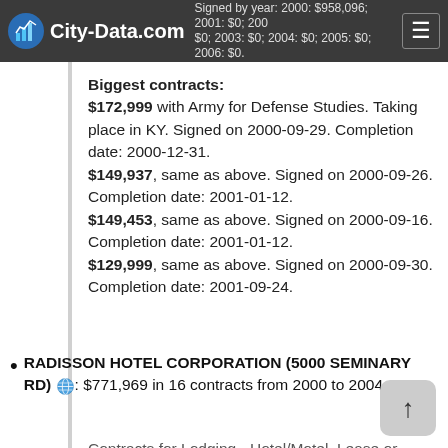City-Data.com — Contracts for Defense Studies by Army. Signed by year: 2000: $958,096; 2001: $0; 2002: $0; 2003: $0; 2004: $0; 2005: $0; 2006: $0.
Biggest contracts: $172,999 with Army for Defense Studies. Taking place in KY. Signed on 2000-09-29. Completion date: 2000-12-31. $149,937, same as above. Signed on 2000-09-26. Completion date: 2001-01-12. $149,453, same as above. Signed on 2000-09-16. Completion date: 2001-01-12. $129,999, same as above. Signed on 2000-09-30. Completion date: 2001-09-24.
RADISSON HOTEL CORPORATION (5000 SEMINARY RD): $771,969 in 16 contracts from 2000 to 2004.
Contracts for Lodging - Hotel/Motel, Lease or Rental of Facilities -- Conference Space and Facilities, ADP, General Purpose, Hotel (ARPA).